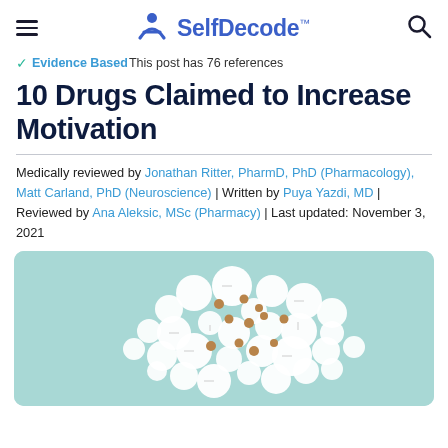SelfDecode
Evidence Based This post has 76 references
10 Drugs Claimed to Increase Motivation
Medically reviewed by Jonathan Ritter, PharmD, PhD (Pharmacology), Matt Carland, PhD (Neuroscience) | Written by Puya Yazdi, MD | Reviewed by Ana Aleksic, MSc (Pharmacy) | Last updated: November 3, 2021
[Figure (photo): Assorted white and brown pills arranged in a brain-like cluster shape on a light teal/mint background]